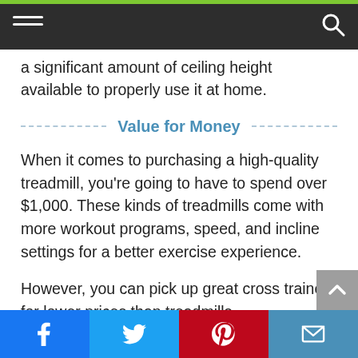Navigation bar with hamburger menu and search icon
a significant amount of ceiling height available to properly use it at home.
Value for Money
When it comes to purchasing a high-quality treadmill, you're going to have to spend over $1,000. These kinds of treadmills come with more workout programs, speed, and incline settings for a better exercise experience.
However, you can pick up great cross trainers for lower prices than treadmills.
Facebook | Twitter | Pinterest | Email share buttons